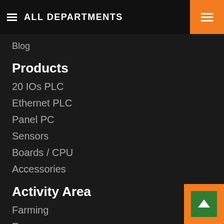ALL DEPARTMENTS
Blog
Products
20 IOs PLC
Ethernet PLC
Panel PC
Sensors
Boards / CPU
Accessories
Activity Area
Farming
Energy
Automation